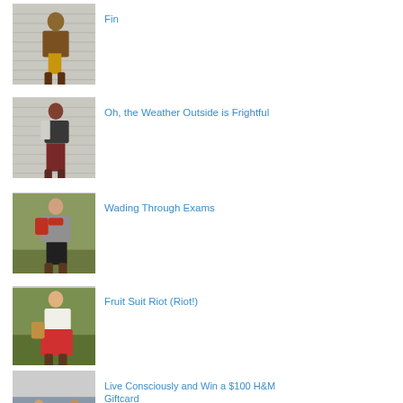[Figure (photo): Fashion photo of person in yellow skirt and brown jacket]
Fin
[Figure (photo): Fashion photo of person in dark top and maroon pants]
Oh, the Weather Outside is Frightful
[Figure (photo): Fashion photo of person in grey cardigan and red scarf]
Wading Through Exams
[Figure (photo): Fashion photo of person in red skirt outdoors]
Fruit Suit Riot (Riot!)
[Figure (photo): Fashion photo of person outdoors]
Live Consciously and Win a $100 H&M Giftcard [GIVEAWAY CLOSED]